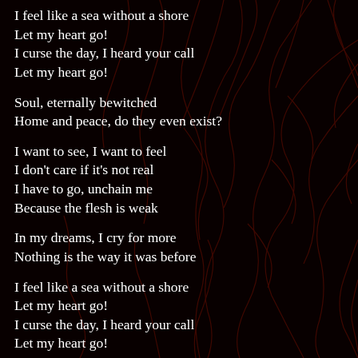I feel like a sea without a shore
Let my heart go!
I curse the day, I heard your call
Let my heart go!
Soul, eternally bewitched
Home and peace, do they even exist?
I want to see, I want to feel
I don't care if it's not real
I have to go, unchain me
Because the flesh is weak
In my dreams, I cry for more
Nothing is the way it was before
I feel like a sea without a shore
Let my heart go!
I curse the day, I heard your call
Let my heart go!
Hear now, heed the words of wisdom
The peril is waiting for you
Fear not, cling yourself to wisdom